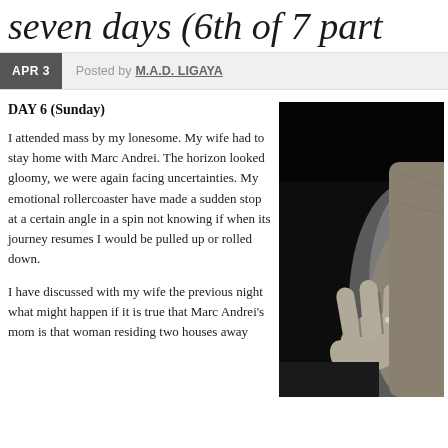seven days (6th of 7 part
APR 3   Posted by M.A.D. LIGAYA
DAY 6 (Sunday)
I attended mass by my lonesome. My wife had to stay home with Marc Andrei. The horizon looked gloomy, we were again facing uncertainties. My emotional rollercoaster have made a sudden stop at a certain angle in a spin not knowing if when its journey resumes I would be pulled up or rolled down.
I have discussed with my wife the previous night what might happen if it is true that Marc Andrei's mom is that woman residing two houses away
[Figure (photo): Black and white close-up photograph of a hand resting on a person's body/back, with a wedding ring visible on one finger.]